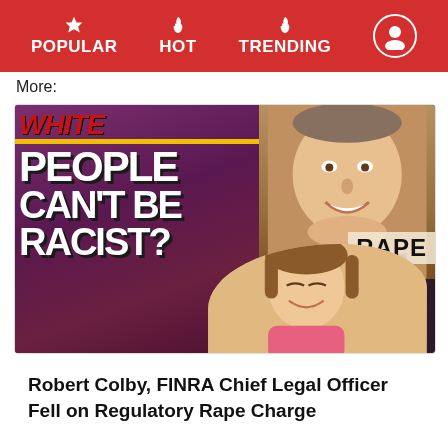POPULAR | HOT | TRENDING
More:
[Figure (photo): Composite image showing a magazine cover with text 'WHITE PEOPLE CAN'T BE RACIST?' overlaid with a photo of a man with a child, and the word 'RAPE' overlaid]
Robert Colby, FINRA Chief Legal Officer Fell on Regulatory Rape Charge